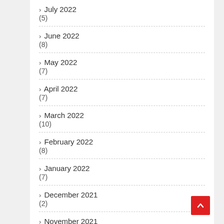› July 2022
(5)
› June 2022
(8)
› May 2022
(7)
› April 2022
(7)
› March 2022
(10)
› February 2022
(8)
› January 2022
(7)
› December 2021
(2)
› November 2021
(4)